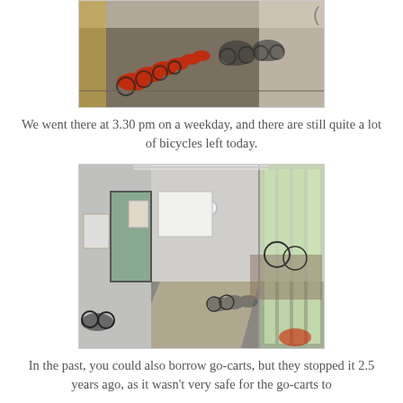[Figure (photo): Indoor bicycle storage area with rows of red and black bicycles parked on a grey floor, some natural light visible on the right side.]
We went there at 3.30 pm on a weekday, and there are still quite a lot of bicycles left today.
[Figure (photo): Interior of a bright room with large windows on the right side, bicycles and bicycle parts visible along the walls, sunlight casting shadows on grey floor.]
In the past, you could also borrow go-carts, but they stopped it 2.5 years ago, as it wasn't very safe for the go-carts to